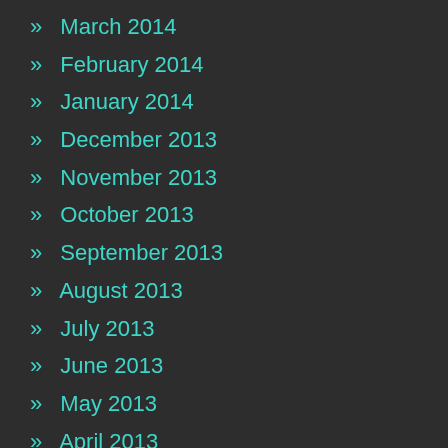» March 2014
» February 2014
» January 2014
» December 2013
» November 2013
» October 2013
» September 2013
» August 2013
» July 2013
» June 2013
» May 2013
» April 2013
» March 2013
» February 2013